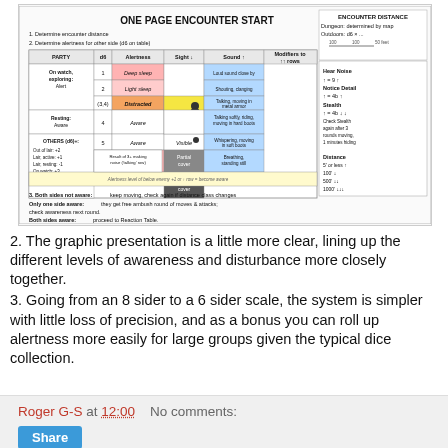[Figure (infographic): One Page Encounter Start table showing encounter distance, party alertness levels (Deep sleep, Light sleep, Distracted, Aware, Alert), sight and sound columns, and modifiers. Includes sections for dungeon/outdoor encounter distances and rules for both/one/neither side awareness.]
2. The graphic presentation is a little more clear, lining up the different levels of awareness and disturbance more closely together.
3. Going from an 8 sider to a 6 sider scale, the system is simpler with little loss of precision, and as a bonus you can roll up alertness more easily for large groups given the typical dice collection.
Roger G-S at 12:00    No comments:   Share